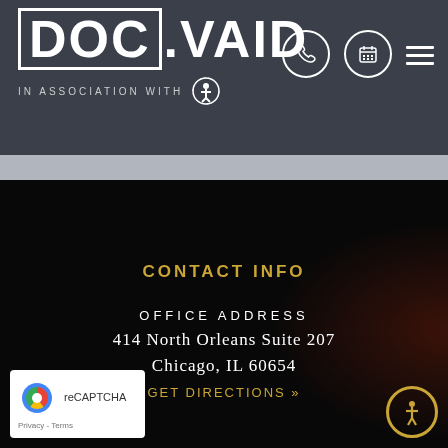[Figure (logo): DOC.VAID logo in white on dark gray header background, with 'IN ASSOCIATION WITH' text and a circular gear/person icon]
[Figure (screenshot): Navigation icons: phone icon in circle, calendar icon in circle, hamburger menu lines]
CONTACT INFO
OFFICE ADDRESS
414 North Orleans Suite 207
Chicago, IL 60654
GET DIRECTIONS »
[Figure (logo): reCAPTCHA badge with Google logo and Privacy - Terms text]
[Figure (logo): Accessibility icon - person in circle with gold border]